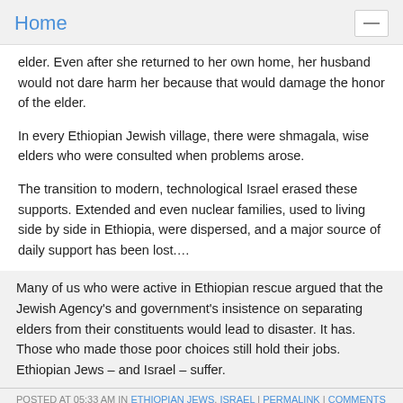Home
elder. Even after she returned to her own home, her husband would not dare harm her because that would damage the honor of the elder.

In every Ethiopian Jewish village, there were shmagala, wise elders who were consulted when problems arose.

The transition to modern, technological Israel erased these supports. Extended and even nuclear families, used to living side by side in Ethiopia, were dispersed, and a major source of daily support has been lost….
Many of us who were active in Ethiopian rescue argued that the Jewish Agency's and government's insistence on separating elders from their constituents would lead to disaster. It has. Those who made those poor choices still hold their jobs. Ethiopian Jews – and Israel – suffer.
POSTED AT 05:33 AM IN ETHIOPIAN JEWS, ISRAEL | PERMALINK | COMMENTS (10)